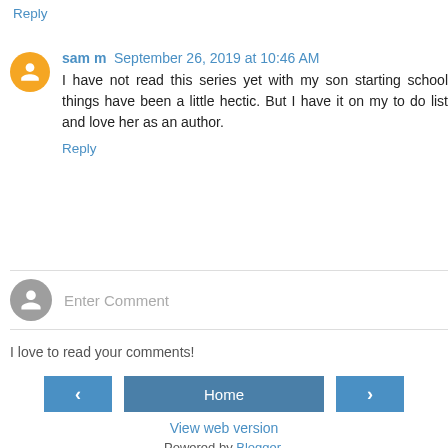Reply
sam m  September 26, 2019 at 10:46 AM
I have not read this series yet with my son starting school things have been a little hectic. But I have it on my to do list and love her as an author.
Reply
Enter Comment
I love to read your comments!
Home
View web version
Powered by Blogger.